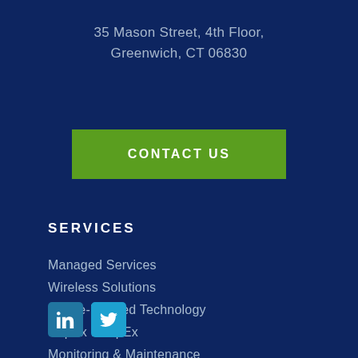35 Mason Street, 4th Floor, Greenwich, CT 06830
[Figure (other): Green CONTACT US button]
SERVICES
Managed Services
Wireless Solutions
Future-Proofed Technology
CapEx to OpEx
Monitoring & Maintenance
[Figure (logo): LinkedIn and Twitter social media icons]